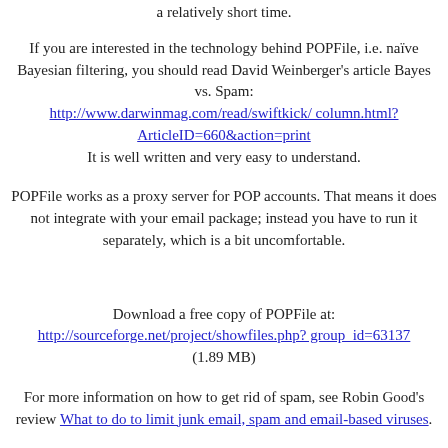a relatively short time.
If you are interested in the technology behind POPFile, i.e. naïve Bayesian filtering, you should read David Weinberger's article Bayes vs. Spam: http://www.darwinmag.com/read/swiftkick/ column.html?ArticleID=660&action=print It is well written and very easy to understand.
POPFile works as a proxy server for POP accounts. That means it does not integrate with your email package; instead you have to run it separately, which is a bit uncomfortable.
Download a free copy of POPFile at: http://sourceforge.net/project/showfiles.php? group_id=63137 (1.89 MB)
For more information on how to get rid of spam, see Robin Good's review What to do to limit junk email, spam and email-based viruses.
You can read the original post here.